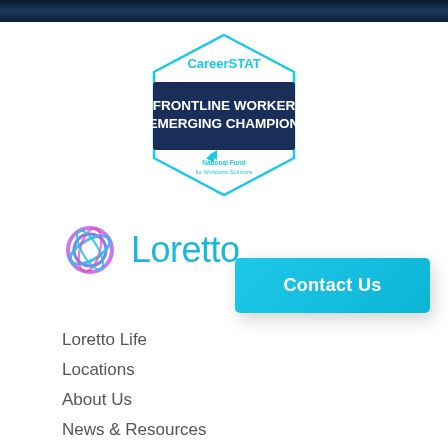[Figure (illustration): Dark blue/teal header banner strip at the top of the page]
[Figure (logo): CareerSTAT Frontline Worker Emerging Champion badge from National Fund for Workforce Solutions — hexagonal/diamond shaped badge with teal outline, dark navy banner reading FRONTLINE WORKER EMERGING CHAMPION in white bold text, teal CareerSTAT text at top, National Fund for Workforce Solutions logo at bottom]
[Figure (logo): Loretto logo — circular swirl icon in purple/blue/pink gradient colors next to the word Loretto in teal/cyan color]
[Figure (other): Contact Us button — teal/cyan rounded rectangle button with white bold text reading Contact Us]
Loretto Life
Locations
About Us
News & Resources